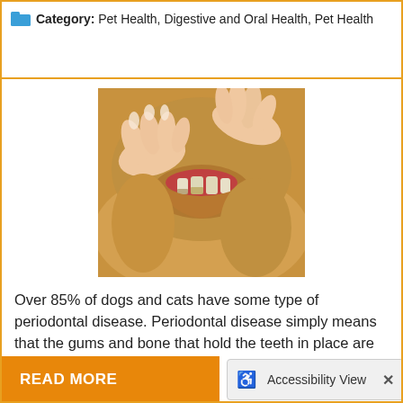Category: Pet Health, Digestive and Oral Health, Pet Health
[Figure (photo): Hands pulling back dog lips to show teeth with tartar/periodontal disease]
Over 85% of dogs and cats have some type of periodontal disease. Periodontal disease simply means that the gums and bone that hold the teeth in place are being destroyed by oral bacteria. This preventable disease is the number one diagnosed disease in our pets, yet many animals suffer needlessly. Periodontal
READ MORE
Accessibility View